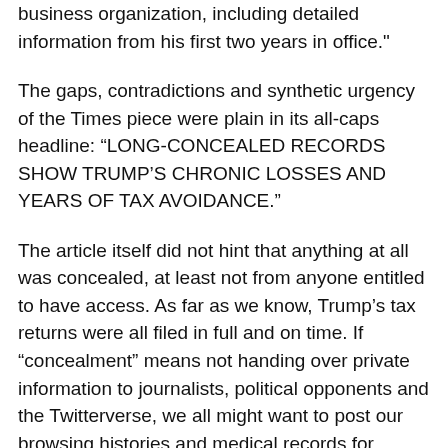business organization, including detailed information from his first two years in office."
The gaps, contradictions and synthetic urgency of the Times piece were plain in its all-caps headline: “LONG-CONCEALED RECORDS SHOW TRUMP’S CHRONIC LOSSES AND YEARS OF TAX AVOIDANCE.”
The article itself did not hint that anything at all was concealed, at least not from anyone entitled to have access. As far as we know, Trump’s tax returns were all filed in full and on time. If “concealment” means not handing over private information to journalists, political opponents and the Twitterverse, we all might want to post our browsing histories and medical records for scribes to digest at their leisure. Trump has broken with the tradition of recent decades in refusing to release his tax returns publicly, and his claims that an ongoing tax audit is the reason why are nonsense. Neither fact qualifies